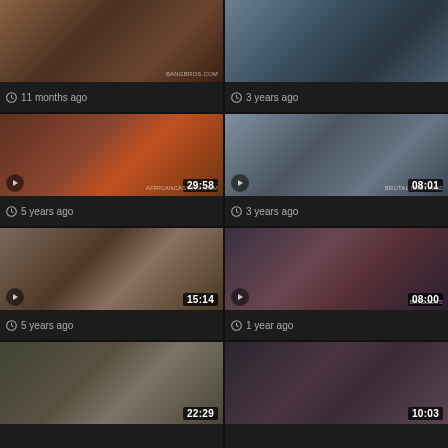[Figure (screenshot): Video thumbnail grid - top left card, timestamp area, 11 months ago]
[Figure (screenshot): Video thumbnail grid - top right card, 3 years ago]
[Figure (screenshot): Video thumbnail - 29:58 duration, 5 years ago, AfricanCasting.com watermark]
[Figure (screenshot): Video thumbnail - 08:01 duration, 3 years ago, BrutalCastings watermark]
[Figure (screenshot): Video thumbnail - 15:14 duration, 5 years ago]
[Figure (screenshot): Video thumbnail - 08:00 duration, 1 year ago, Brazzers watermark]
[Figure (screenshot): Video thumbnail - 22:29 duration, partial view at bottom]
[Figure (screenshot): Video thumbnail - 10:03 duration, partial view at bottom]